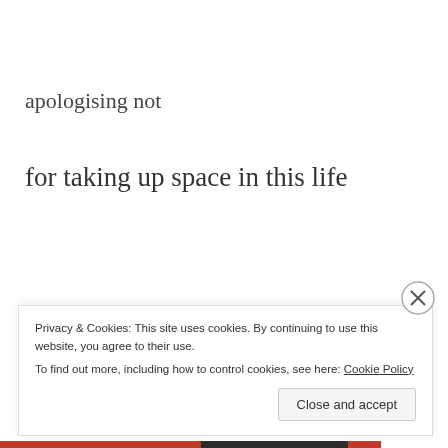apologising not
for taking up space in this life
may we hold life with wonder
…
Privacy & Cookies: This site uses cookies. By continuing to use this website, you agree to their use.
To find out more, including how to control cookies, see here: Cookie Policy